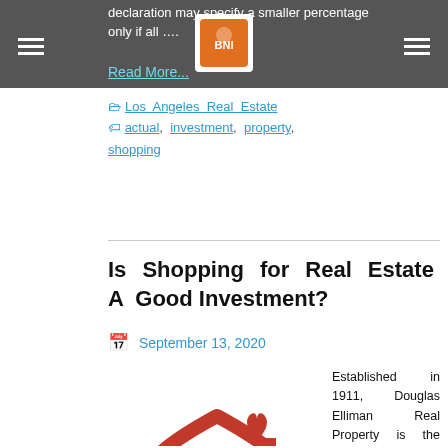declaration may specify a smaller percentage only if all …. Read More...
Los Angeles Real Estate   actual, investment, property, shopping
Is Shopping for Real Estate A Good Investment?
September 13, 2020
[Figure (logo): Red house real estate logo with heart and 'REAL ESTATE' text below]
Established in 1911, Douglas Elliman Real Property is the largest brokerage in the New York Metropolitan space and the third largest